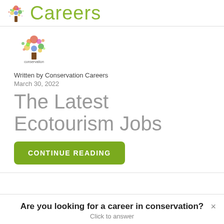Careers
[Figure (logo): Conservation Careers logo with colorful tree and text 'conservation careers']
Written by Conservation Careers
March 30, 2022
The Latest Ecotourism Jobs
CONTINUE READING
Are you looking for a career in conservation?
Click to answer